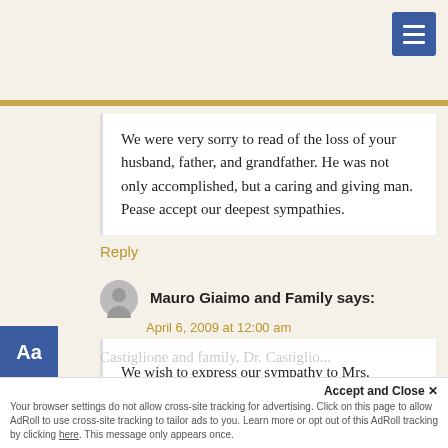[Figure (screenshot): Blue hamburger menu button in top right corner]
We were very sorry to read of the loss of your husband, father, and grandfather. He was not only accomplished, but a caring and giving man. Pease accept our deepest sympathies.
Reply
Aa
Mauro Giaimo and Family says: April 6, 2009 at 12:00 am
We wish to express our sympathy to Mrs. Castiglione and family, Dr. Castiglio...
Accept and Close ✕
Your browser settings do not allow cross-site tracking for advertising. Click on this page to allow AdRoll to use cross-site tracking to tailor ads to you. Learn more or opt out of this AdRoll tracking by clicking here. This message only appears once.